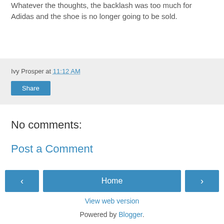Whatever the thoughts, the backlash was too much for Adidas and the shoe is no longer going to be sold.
Ivy Prosper at 11:12 AM
Share
No comments:
Post a Comment
‹
Home
›
View web version
Powered by Blogger.